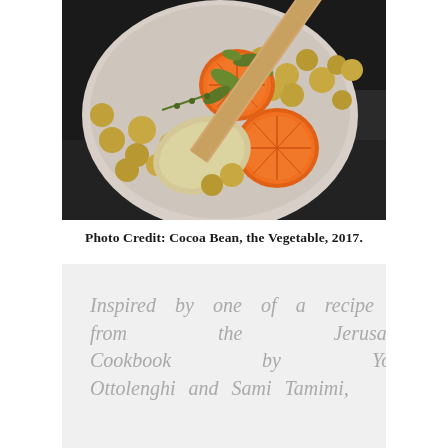[Figure (photo): Overhead photo of a white ceramic bowl containing roasted vegetables including artichoke hearts, halved citrus (clementines or oranges), small potatoes, and herbs, with a wooden spoon resting in the bowl, set on a dark textured surface.]
Photo Credit: Cocoa Bean, the Vegetable, 2017.
Inspired by one of a recipe from the Jerusalem Cookbook by Yotam Ottolenghi and Sami Tamimi,